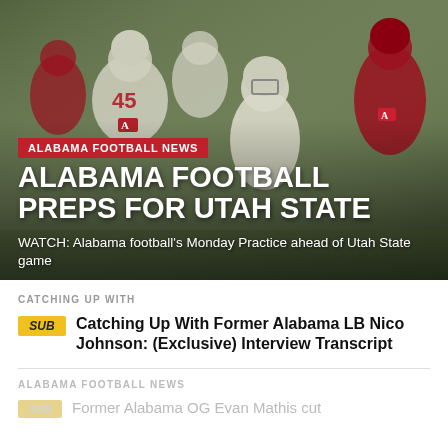[Figure (photo): Alabama football players in white and crimson uniforms during a practice scrimmage, with players in contact forming a line of scrimmage.]
ALABAMA FOOTBALL NEWS
ALABAMA FOOTBALL PREPS FOR UTAH STATE
WATCH: Alabama football's Monday Practice ahead of Utah State game
CATCHING UP WITH
Catching Up With Former Alabama LB Nico Johnson: (Exclusive) Interview Transcript
ALABAMA FOOTBALL NEWS
Former Alabama OG Evan Mathis cut